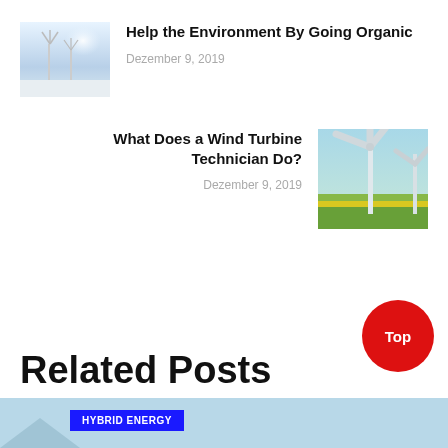[Figure (photo): Snowy landscape with wind turbines under bright sky]
Help the Environment By Going Organic
Dezember 9, 2019
What Does a Wind Turbine Technician Do?
Dezember 9, 2019
[Figure (photo): Wind turbine close-up over green and yellow fields]
Related Posts
HYBRID ENERGY